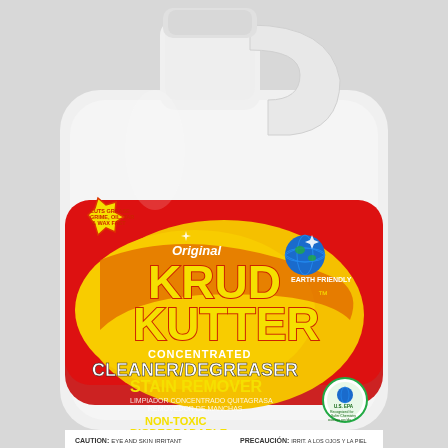[Figure (photo): Krud Kutter Original Concentrated Cleaner/Degreaser Stain Remover 1 gallon white plastic jug with red label. Label shows brand name KRUD KUTTER in large yellow letters, CONCENTRATED CLEANER/DEGREASER STAIN REMOVER in white/black text, NON-TOXIC BIODEGRADABLE, EARTH FRIENDLY globe logo, EPA Safer Choice seal, starburst callout reading CUTS GREASE GRIME OIL TAR & WAX FAST, CAUTION text, NET CONTENTS 1 GALLON / CONTENIDO NETO 3.79 LITROS]